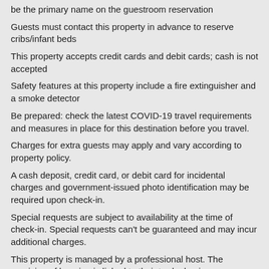be the primary name on the guestroom reservation
Guests must contact this property in advance to reserve cribs/infant beds
This property accepts credit cards and debit cards; cash is not accepted
Safety features at this property include a fire extinguisher and a smoke detector
Be prepared: check the latest COVID-19 travel requirements and measures in place for this destination before you travel.
Charges for extra guests may apply and vary according to property policy.
A cash deposit, credit card, or debit card for incidental charges and government-issued photo identification may be required upon check-in.
Special requests are subject to availability at the time of check-in. Special requests can't be guaranteed and may incur additional charges.
This property is managed by a professional host. The provision of housing is linked to their trade, business, or profession. The name on the credit card used at check-in to pay for incidentals must be the primary name on the guestroom reservation. Guests must contact this property in advance to reserve cribs/infant beds. This property accepts Visa, Mastercard, American Express, Discover, and debit cards. Cash is not accepted.
For guests' safety, the property includes a fire extinguisher and a smoke